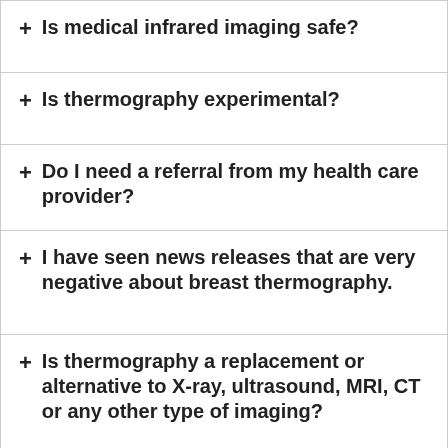+ Is medical infrared imaging safe?
+ Is thermography experimental?
+ Do I need a referral from my health care provider?
+ I have seen news releases that are very negative about breast thermography.
+ Is thermography a replacement or alternative to X-ray, ultrasound, MRI, CT or any other type of imaging?